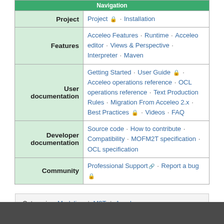|  |  |
| --- | --- |
| Project | Project 🔒 · Installation |
| Features | Acceleo Features · Runtime · Acceleo editor · Views & Perspective · Interpreter · Maven |
| User documentation | Getting Started · User Guide 🔒 · Acceleo operations reference · OCL operations reference · Text Production Rules · Migration From Acceleo 2.x · Best Practices 🔒 · Videos · FAQ |
| Developer documentation | Source code · How to contribute · Compatibility · MOFM2T specification · OCL specification |
| Community | Professional Support 🔗 · Report a bug 🔒 |
Categories: Modeling | M2T | Acceleo